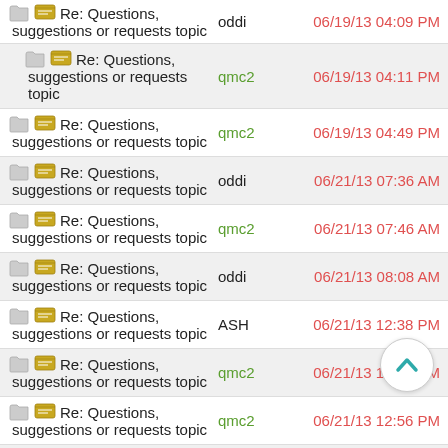Re: Questions, suggestions or requests topic | oddi | 06/19/13 04:09 PM
Re: Questions, suggestions or requests topic | qmc2 | 06/19/13 04:11 PM
Re: Questions, suggestions or requests topic | qmc2 | 06/19/13 04:49 PM
Re: Questions, suggestions or requests topic | oddi | 06/21/13 07:36 AM
Re: Questions, suggestions or requests topic | qmc2 | 06/21/13 07:46 AM
Re: Questions, suggestions or requests topic | oddi | 06/21/13 08:08 AM
Re: Questions, suggestions or requests topic | ASH | 06/21/13 12:38 PM
Re: Questions, suggestions or requests topic | qmc2 | 06/21/13 12:42 PM
Re: Questions, suggestions or requests topic | qmc2 | 06/21/13 12:56 PM
Re: Questions, suggestions or requests topic | ASH | 06/21/13 01:00 PM